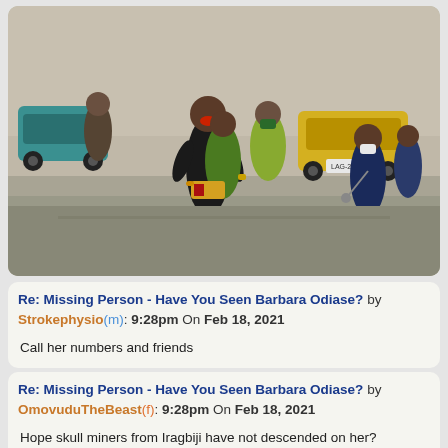[Figure (photo): Street scene showing a man being restrained or escorted by people on a busy urban road, with cars visible in the background. The man appears distressed.]
Re: Missing Person - Have You Seen Barbara Odiase? by Strokephysio(m): 9:28pm On Feb 18, 2021
Call her numbers and friends
Re: Missing Person - Have You Seen Barbara Odiase? by OmovuduTheBeast(f): 9:28pm On Feb 18, 2021
Hope skull miners from Iragbiji have not descended on her?
4 Likes